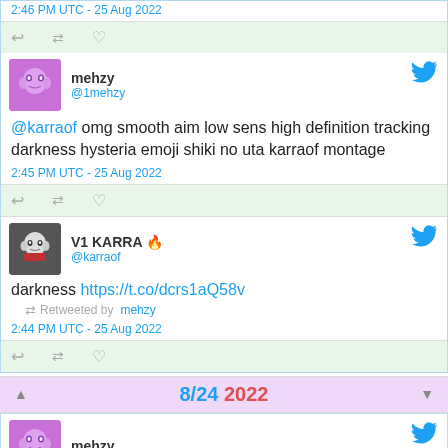2:46 PM UTC - 25 Aug 2022
[Figure (screenshot): Tweet action bar with reply, retweet, like icons on light green background]
[Figure (screenshot): Tweet from mehzy (@1mehzy) with anime avatar]
@karraof omg smooth aim low sens high definition tracking darkness hysteria emoji shiki no uta karraof montage
2:45 PM UTC - 25 Aug 2022
[Figure (screenshot): Tweet action bar with reply, retweet, like icons on light green background]
[Figure (screenshot): Tweet from V1 KARRA (@karraof) with anime avatar]
darkness https://t.co/dcrs1aQ58v
Retweeted by mehzy
2:44 PM UTC - 25 Aug 2022
[Figure (screenshot): Tweet action bar with reply, retweet, like icons on light green background]
8/24 2022
[Figure (screenshot): Tweet from mehzy with anime avatar (partial, bottom of page)]